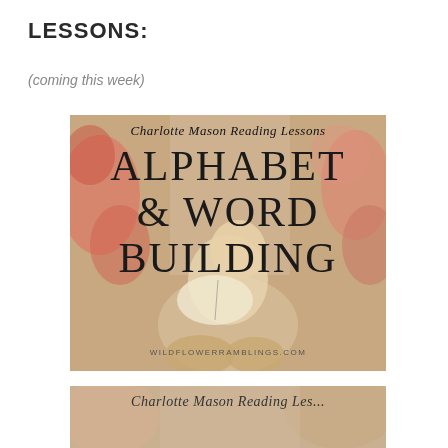LESSONS:
(coming this week)
[Figure (illustration): Book cover image: Charlotte Mason Reading Lessons - Alphabet & Word Building, featuring a painting of a young child reading a book, with floral background. Website: WILDFLOWERRAMBLINGS.COM]
[Figure (illustration): Partial view of a second Charlotte Mason Reading Lessons book cover image, showing script text at top.]